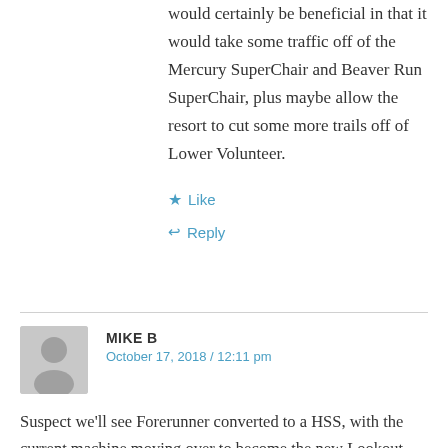would certainly be beneficial in that it would take some traffic off of the Mercury SuperChair and Beaver Run SuperChair, plus maybe allow the resort to cut some more trails off of Lower Volunteer.
★ Like
↩ Reply
MIKE B
October 17, 2018 / 12:11 pm
Suspect we'll see Forerunner converted to a HSS, with the current machine moving over to become the new Lookout. Downside is that this increases uphill capacity in relatively small area by 67%. Will likely make Lord and Sunrise an utter junk show as the